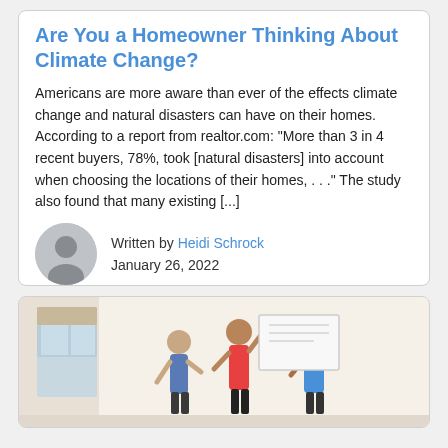Are You a Homeowner Thinking About Climate Change?
Americans are more aware than ever of the effects climate change and natural disasters can have on their homes. According to a report from realtor.com: “More than 3 in 4 recent buyers, 78%, took [natural disasters] into account when choosing the locations of their homes, . . .” The study also found that many existing [...]
Written by Heidi Schrock
January 26, 2022
[Figure (photo): Photo of people in a bright room, appearing to be hanging or adjusting something on a wall]